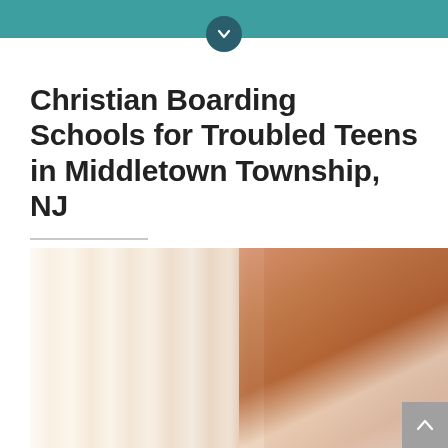[Figure (screenshot): Teal header bar with a dark teal circular chevron/down-arrow button centered at the bottom edge of the bar]
Christian Boarding Schools for Troubled Teens in Middletown Township, NJ
[Figure (photo): A young woman with long auburn hair wearing glasses, hands clasped together as if praying, photographed in soft warm light near a window with curtains]